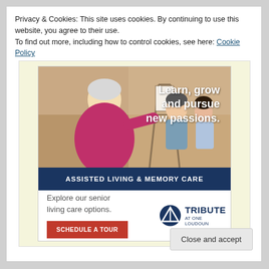Privacy & Cookies: This site uses cookies. By continuing to use this website, you agree to their use.
To find out more, including how to control cookies, see here: Cookie Policy
[Figure (other): Advertisement for Tribute at One Loudoun assisted living and memory care. Shows elderly woman painting at an easel with younger people in background. Text reads: Learn, grow and pursue new passions. ASSISTED LIVING & MEMORY CARE. Explore our senior living options. SCHEDULE A TOUR. Tribute at One Loudoun logo.]
Close and accept